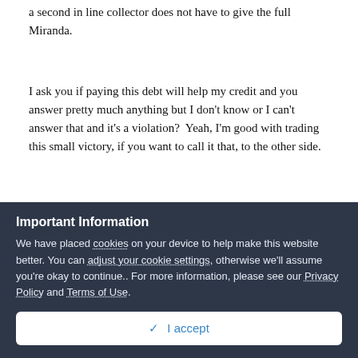a second in line collector does not have to give the full Miranda.
I ask you if paying this debt will help my credit and you answer pretty much anything but I don't know or I can't answer that and it's a violation?  Yeah, I'm good with trading this small victory, if you want to call it that, to the other side.
I'm sure if give the choice in two recent cases, the court ruling that a debt collector has the burden of proving, if leaving a robo call message, that the burden is on the collector to prove that the debtor gave express permission to be called by robo call by
Important Information
We have placed cookies on your device to help make this website better. You can adjust your cookie settings, otherwise we'll assume you're okay to continue.. For more information, please see our Privacy Policy and Terms of Use.
✓  I accept